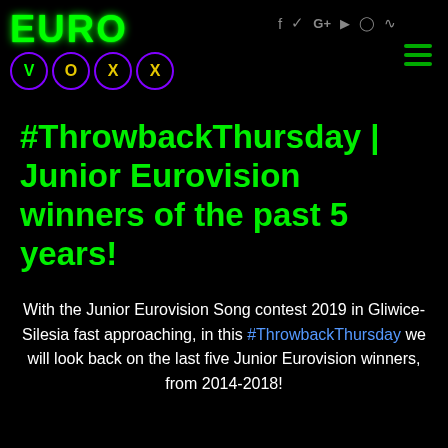EURO VOXX logo with social icons: f y G+ YouTube Instagram RSS and hamburger menu
#ThrowbackThursday | Junior Eurovision winners of the past 5 years!
With the Junior Eurovision Song contest 2019 in Gliwice-Silesia fast approaching, in this #ThrowbackThursday we will look back on the last five Junior Eurovision winners, from 2014-2018!